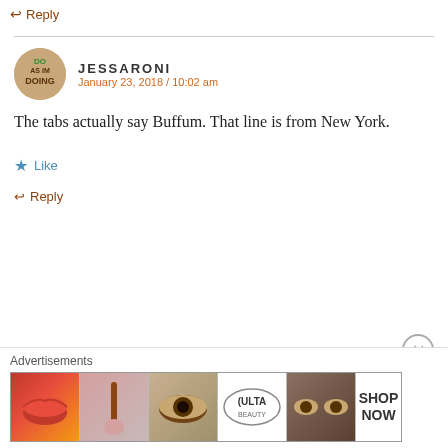↩ Reply
[Figure (illustration): Circular avatar for Jessaroni with green 'DO AS IM DOING' text badge]
JESSARONI
January 23, 2018 / 10:02 am
The tabs actually say Buffum. That line is from New York.
★ Like
↩ Reply
[Figure (illustration): Green geometric/symmetrical pattern avatar for Charlotte Tuck]
CHARLOTTE TUCK
January 23, 2018 / 10:27 am
Advertisements
[Figure (other): ULTA beauty advertisement banner with makeup images and SHOP NOW text]